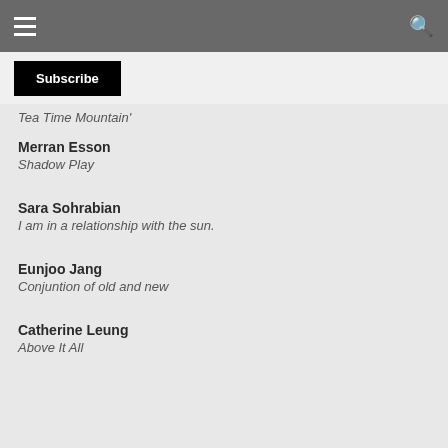Subscribe
Tea Time Mountain'
Merran Esson
Shadow Play
Sara Sohrabian
I am in a relationship with the sun.
Eunjoo Jang
Conjuntion of old and new
Catherine Leung
Above It All